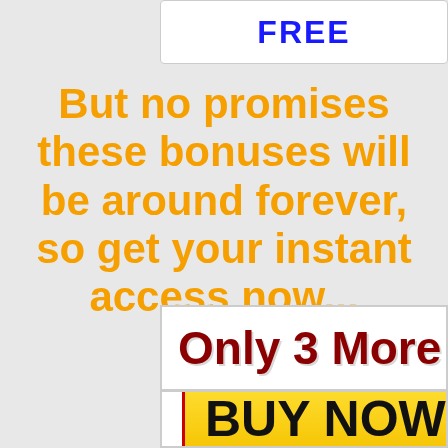FREE
But no promises these bonuses will be around forever, so get your instant access now...
Only 3 More At $1
BUY NOW